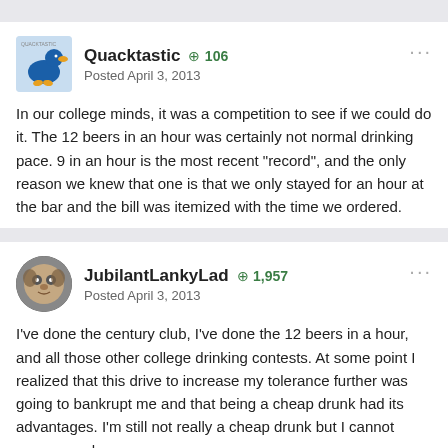Quacktastic   +106
Posted April 3, 2013
In our college minds, it was a competition to see if we could do it. The 12 beers in an hour was certainly not normal drinking pace. 9 in an hour is the most recent "record", and the only reason we knew that one is that we only stayed for an hour at the bar and the bill was itemized with the time we ordered.
JubilantLankyLad   +1,957
Posted April 3, 2013
I've done the century club, I've done the 12 beers in a hour, and all those other college drinking contests. At some point I realized that this drive to increase my tolerance further was going to bankrupt me and that being a cheap drunk had its advantages. I'm still not really a cheap drunk but I cannot come anywhere close to drinking the distance I once could, and that's okay.